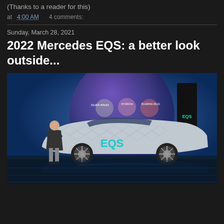(Thanks to a reader for this)
at 4:00 AM   4 comments:
Sunday, March 28, 2021
2022 Mercedes EQS: a better look outside...
[Figure (photo): A man in a suit standing next to the 2022 Mercedes EQS prototype car covered in a geometric camouflage wrap with teal EQS logo, in front of a blue promotional backdrop with silver circles pattern and labels SILVER WAVES, HYDRION, ROARING RILIS. The EQS logo in teal is visible on the car's side.]